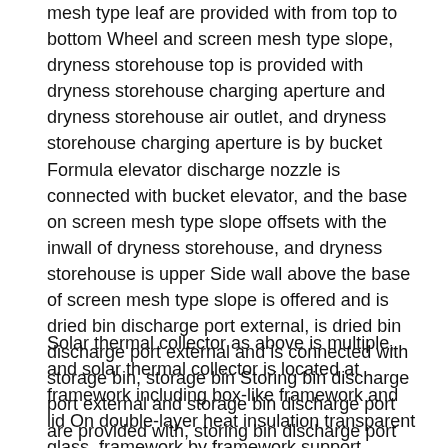mesh type leaf are provided with from top to bottom Wheel and screen mesh type slope, dryness storehouse top is provided with dryness storehouse charging aperture and dryness storehouse air outlet, and dryness storehouse charging aperture is by bucket Formula elevator discharge nozzle is connected with bucket elevator, and the base on screen mesh type slope offsets with the inwall of dryness storehouse, and dryness storehouse is upper Side wall above the base of screen mesh type slope is offered and is dried bin discharge port external, is dried bin discharge port external and is connected with storage bin, storage bin Storing bin discharge port external and storage bin discharge port are provided with, storing bin discharge port external is by bucket elevator feed pipe and bucket elevator Connection, the first screen mesh type impeller is contrary with the direction of rotation of the second screen mesh type impeller.
Solar thermal collector as above is multiple, and solar thermal collector is located at framework including box-like framework and lid On double-layer heat insulation transparent glass, framework by framework support support on the ground, framework both sides offer